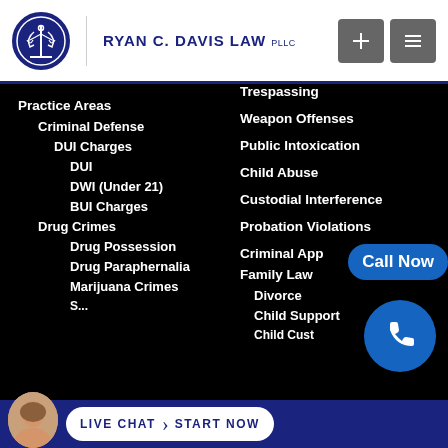RYAN C. DAVIS LAW PLLC
Practice Areas
Criminal Defense
DUI Charges
DUI
DWI (Under 21)
BUI Charges
Drug Crimes
Drug Possession
Drug Paraphernalia
Marijuana Crimes
Trespassing
Weapon Offenses
Public Intoxication
Child Abuse
Custodial Interference
Probation Violations
Criminal App...
Family Law
Divorce
Child Support
Child Custody
Call Now
LIVE CHAT | START NOW